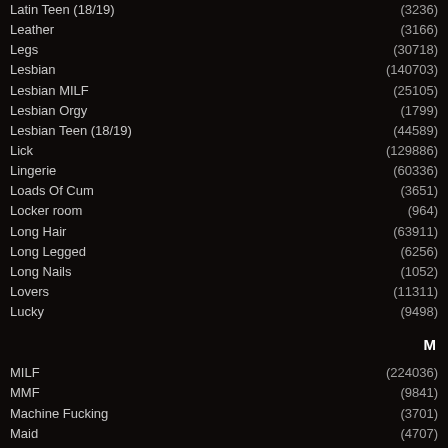Latin Teen (18/19) (3236)
Leather (3166)
Legs (30718)
Lesbian (140703)
Lesbian MILF (25105)
Lesbian Orgy (1799)
Lesbian Teen (18/19) (44589)
Lick (129886)
Lingerie (60336)
Loads Of Cum (3651)
Locker room (964)
Long Hair (63911)
Long Legged (6256)
Long Nails (1052)
Lovers (11311)
Lucky (9498)
M
MILF (224036)
MMF (9841)
Machine Fucking (3701)
Maid (4707)
Married (2488)
Mask (1801)
Massage (38751)
Masseuse (7794)
Massive Tits (5884)
Master (6718)
Masturbating (176995)
Masturbation Solo (88070)
Mature (110938)